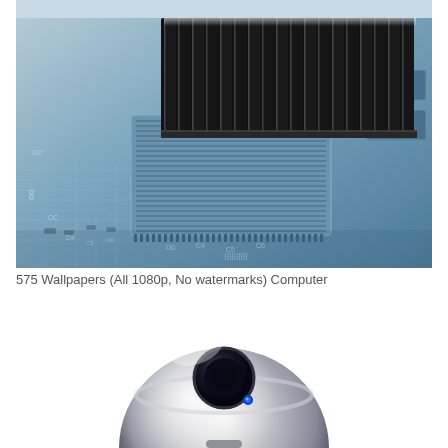[Figure (photo): Close-up photo of a CPU heatsink (black metal fin array) mounted on a computer motherboard (green/blue PCB with circuit traces and component markings). The image has a cool blue-grey tonal palette.]
575 Wallpapers (All 1080p, No watermarks) Computer
[Figure (photo): Close-up photo of a metallic/chrome computer webcam or surveillance camera dome, silver and glossy, with a blue LED indicator visible, on a white background.]